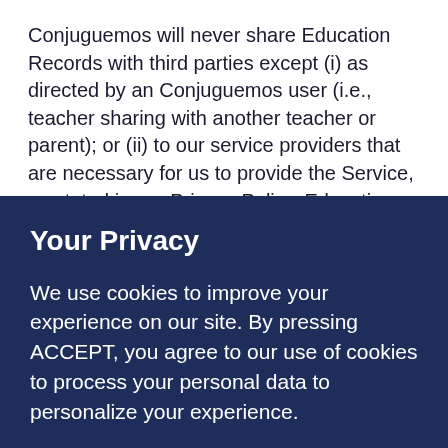Conjuguemos will never share Education Records with third parties except (i) as directed by an Conjuguemos user (i.e., teacher sharing with another teacher or parent); or (ii) to our service providers that are necessary for us to provide the Service, as stated in our Privacy Policy. Education Records are never used or disclosed for third-party advertising or any kind of
Your Privacy
We use cookies to improve your experience on our site. By pressing ACCEPT, you agree to our use of cookies to process your personal data to personalize your experience.